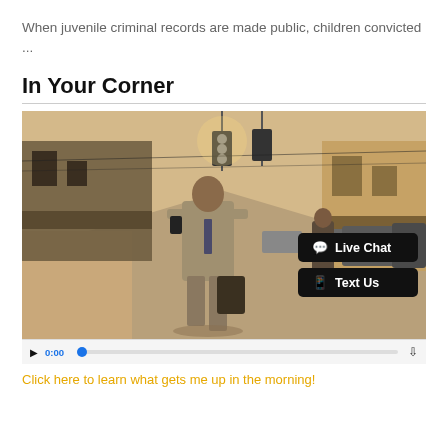When juvenile criminal records are made public, children convicted ...
In Your Corner
[Figure (screenshot): Video player showing a man in a suit walking on a busy urban street, with overlaid Live Chat and Text Us buttons, and a video progress bar at the bottom.]
Click here to learn what gets me up in the morning!